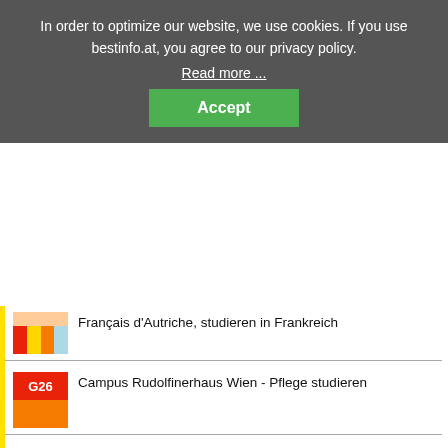In order to optimize our website, we use cookies. If you use bestinfo.at, you agree to our privacy policy.
Read more ...
Accept
Français d'Autriche, studieren in Frankreich
G26
Campus Rudolfinerhaus Wien - Pflege studieren
G34
Caritas Schulen Wien & Wr. Neustadt